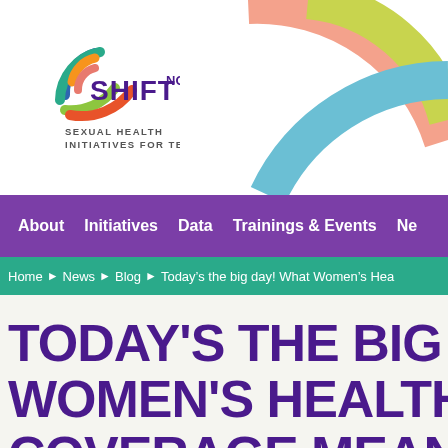[Figure (logo): SHIFT NC logo with colorful concentric arcs (blue, teal, green, red/orange) and text 'SHIFT NC' with subtitle 'SEXUAL HEALTH INITIATIVES FOR TEENS']
About  Initiatives  Data  Trainings & Events  Ne
Home ▶ News ▶ Blog ▶ Today's the big day! What Women's Hea
TODAY'S THE BIG DAY! WOMEN'S HEALTH COVERAGE MEANS FO